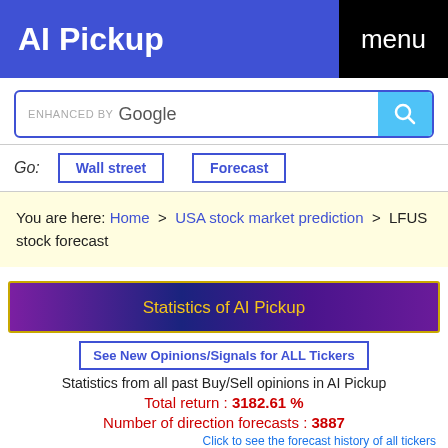AI Pickup   menu
[Figure (screenshot): Google enhanced search bar with blue magnifying glass button]
Go:  Wall street  Forecast
You are here: Home > USA stock market prediction > LFUS stock forecast
Statistics of AI Pickup
See New Opinions/Signals for ALL Tickers
Statistics from all past Buy/Sell opinions in AI Pickup
Total return : 3182.61 %
Number of direction forecasts : 3887
Click to see the forecast history of all tickers